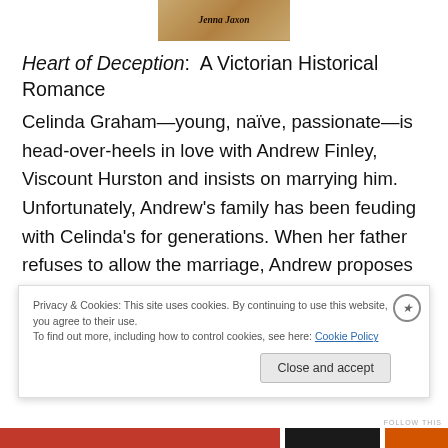[Figure (illustration): Partial book cover image showing author name 'Jenna Jaxon' on a warm-toned background]
Heart of Deception:  A Victorian Historical Romance
Celinda Graham—young, naïve, passionate—is head-over-heels in love with Andrew Finley, Viscount Hurston and insists on marrying him. Unfortunately, Andrew's family has been feuding with Celinda's for generations. When her father refuses to allow the marriage, Andrew proposes a scandalous way to get his approval.  But Andrew has a secret that may spell disaster to his plans if Celinda finds out he is not who he...
Privacy & Cookies: This site uses cookies. By continuing to use this website, you agree to their use.
To find out more, including how to control cookies, see here: Cookie Policy
Close and accept